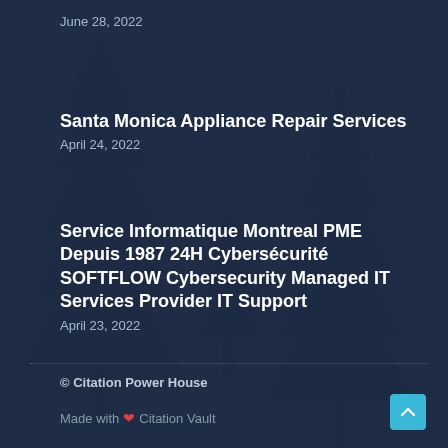June 28, 2022
Santa Monica Appliance Repair Services
April 24, 2022
Service Informatique Montreal PME Depuis 1987 24H Cybersécurité SOFTFLOW Cybersecurity Managed IT Services Provider IT Support
April 23, 2022
© Citation Power House
Made with ❤ Citation Vault